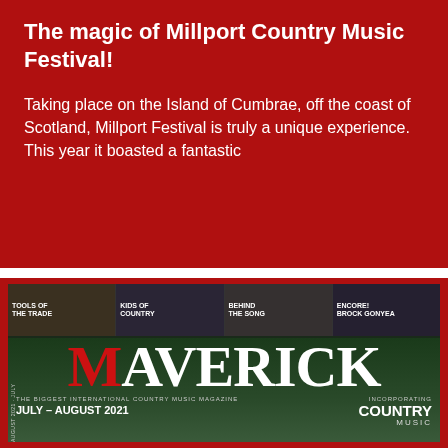The magic of Millport Country Music Festival!
Taking place on the Island of Cumbrae, off the coast of Scotland, Millport Festival is truly a unique experience. This year it boasted a fantastic
[Figure (photo): Cover of Maverick magazine, July-August 2021 issue. Shows the masthead 'MAVERICK' in large white serif font with red M, subtitle 'THE BIGGEST INTERNATIONAL COUNTRY MUSIC MAGAZINE', date 'JULY - AUGUST 2021', and four thumbnail images at the top: Tools of the Trade, Kids of Country, Behind the Song, Encore! Brock Gonyea. Bottom shows a person in a car.]